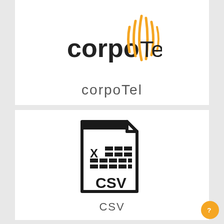[Figure (logo): corpoTel logo with orange wave/signal lines and bold text 'corpo' followed by signal marks and 'Tel']
corpoTel
[Figure (illustration): CSV file icon - document outline with folded corner, spreadsheet grid with X icon, and bold text 'CSV' at bottom of icon]
CSV